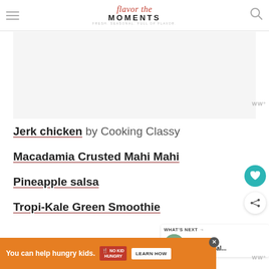Flavor the Moments — FRESH. SEASONAL. FULL OF FLAVOR.
[Figure (other): Advertisement placeholder — light gray rectangle]
Jerk chicken by Cooking Classy
Macadamia Crusted Mahi Mahi
Pineapple salsa
Tropi-Kale Green Smoothie
[Figure (other): What's Next widget showing Santa Fe Chicken Sal... with circular food image]
[Figure (other): Bottom advertisement banner: You can help hungry kids. No Kid Hungry. Learn How.]